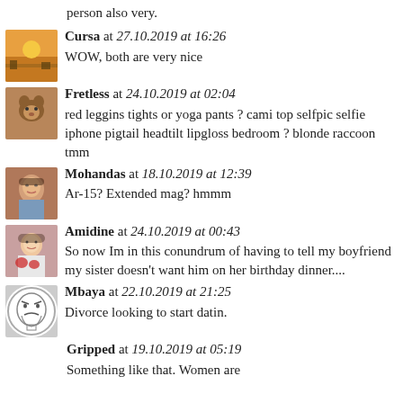person also very.
Cursa at 27.10.2019 at 16:26
WOW, both are very nice
Fretless at 24.10.2019 at 02:04
red leggins tights or yoga pants ? cami top selfpic selfie iphone pigtail headtilt lipgloss bedroom ? blonde raccoon tmm
Mohandas at 18.10.2019 at 12:39
Ar-15? Extended mag? hmmm
Amidine at 24.10.2019 at 00:43
So now Im in this conundrum of having to tell my boyfriend my sister doesn't want him on her birthday dinner....
Mbaya at 22.10.2019 at 21:25
Divorce looking to start datin.
Gripped at 19.10.2019 at 05:19
Something like that. Women are